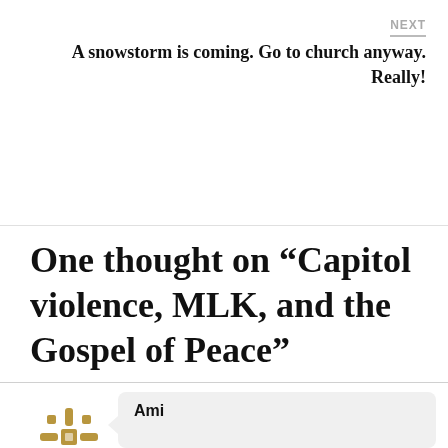NEXT
A snowstorm is coming. Go to church anyway. Really!
One thought on “Capitol violence, MLK, and the Gospel of Peace”
Ami
Thank you John. In all the